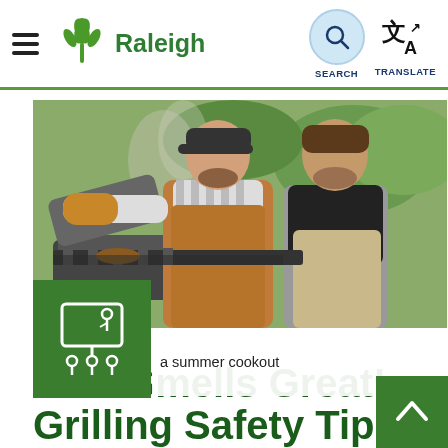Raleigh — navigation header with hamburger menu, Raleigh logo, SEARCH and TRANSLATE buttons
[Figure (photo): Two men in aprons grilling at an outdoor summer cookout. One man wears a brown apron labeled KITCHEN and an oven mitt, lifting the grill lid. The other man in a black shirt watches. A green overlay box with a presentation/training icon appears at lower left. A partial caption reads 'a summer cookout'.]
a summer cookout
That Smells Great! Grilling Safety Tips fo